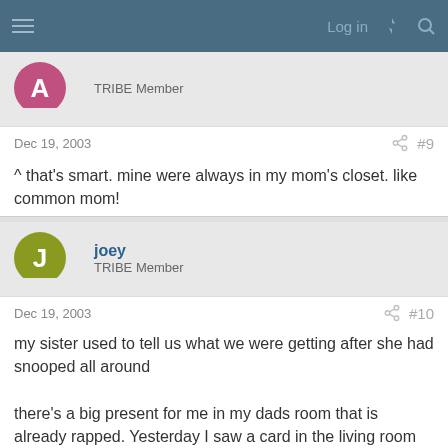Log in
TRIBE Member
Dec 19, 2003  #9
^ that's smart. mine were always in my mom's closet. like common mom!
joey
TRIBE Member
Dec 19, 2003  #10
my sister used to tell us what we were getting after she had snooped all around

there's a big present for me in my dads room that is already rapped. Yesterday I saw a card in the living room for a bar fridge. I guss that's what im gettin..